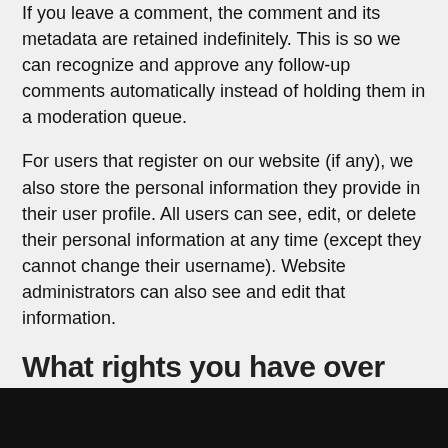If you leave a comment, the comment and its metadata are retained indefinitely. This is so we can recognize and approve any follow-up comments automatically instead of holding them in a moderation queue.
For users that register on our website (if any), we also store the personal information they provide in their user profile. All users can see, edit, or delete their personal information at any time (except they cannot change their username). Website administrators can also see and edit that information.
What rights you have over your data
If you have an account on this site, or have left